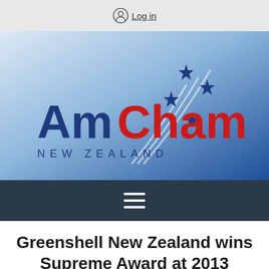Log in
[Figure (logo): AmCham New Zealand logo with stylized stars on a blue gradient banner background]
Greenshell New Zealand wins Supreme Award at 2013 American